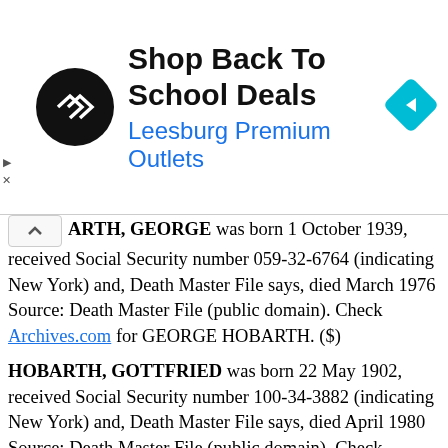[Figure (other): Advertisement banner for Leesburg Premium Outlets with logo, title 'Shop Back To School Deals', subtitle 'Leesburg Premium Outlets', and a blue diamond navigation icon]
HOBARTH, GEORGE was born 1 October 1939, received Social Security number 059-32-6764 (indicating New York) and, Death Master File says, died March 1976
Source: Death Master File (public domain). Check Archives.com for GEORGE HOBARTH. ($)
HOBARTH, GOTTFRIED was born 22 May 1902, received Social Security number 100-34-3882 (indicating New York) and, Death Master File says, died April 1980
Source: Death Master File (public domain). Check Archives.com for GOTTFRIED HOBARTH. ($)
HOBARTH, MARIE T. was born 24 January 1904, received Social Security number 059-10-6192 (indicating New York) and, Death Master File says,